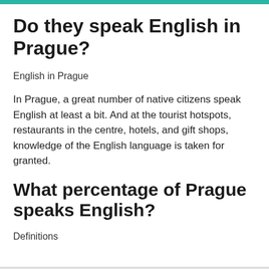Do they speak English in Prague?
English in Prague
In Prague, a great number of native citizens speak English at least a bit. And at the tourist hotspots, restaurants in the centre, hotels, and gift shops, knowledge of the English language is taken for granted.
What percentage of Prague speaks English?
Definitions